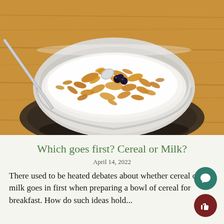[Figure (photo): A white bowl filled with cereal flakes, milk, and blueberries, with a silver spoon, sitting on a dark wooden cutting board on a light wood surface.]
Which goes first? Cereal or Milk?
April 14, 2022
There used to be heated debates about whether cereal or milk goes in first when preparing a bowl of cereal for breakfast. How do such ideas hold...